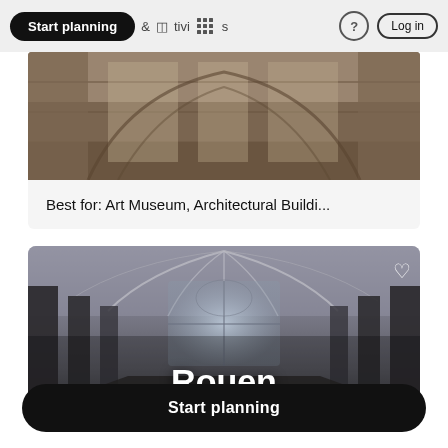Start planning · & Activities · ? · Log in
[Figure (photo): Partial view of an architectural interior, showing stone ceiling and walls of a historical building]
Best for: Art Museum, Architectural Buildi...
[Figure (photo): Interior of Rouen Cathedral showing Gothic vaulted ceiling, columns, and stained glass windows, with text overlay 'Rouen' and a heart/favorite icon]
Start planning